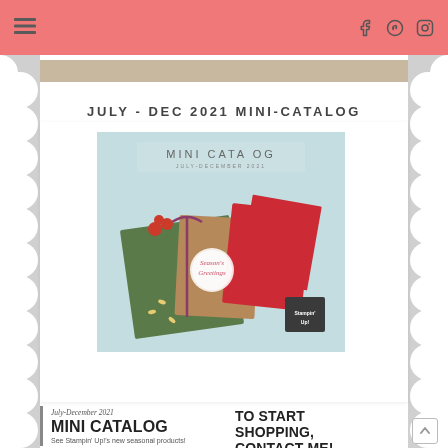JULY - DEC 2021 MINI-CATALOG
[Figure (photo): Cover of the July-December 2021 Mini Catalog from Stampin' Up!, showing holiday gift boxes and cards in red, green, and kraft colors on a light blue background, with 'MINI CATALOG July-December 2021' text at the top.]
July-December 2021 MINI CATALOG See Stampin' Up!'s new seasonal products!
TO START SHOPPING, CONTACT ME!